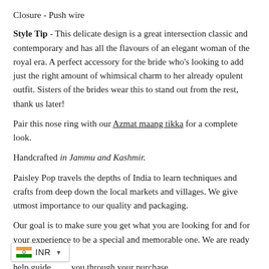Closure - Push wire
Style Tip - This delicate design is a great intersection classic and contemporary and has all the flavours of an elegant woman of the royal era. A perfect accessory for the bride who’s looking to add just the right amount of whimsical charm to her already opulent outfit. Sisters of the brides wear this to stand out from the rest, thank us later!
Pair this nose ring with our Azmat maang tikka for a complete look.
Handcrafted in Jammu and Kashmir.
Paisley Pop travels the depths of India to learn techniques and crafts from deep down the local markets and villages. We give utmost importance to our quality and packaging.
Our goal is to make sure you get what you are looking for and for your experience to be a special and memorable one. We are ready to help guide you through your purchase.
[Figure (infographic): Currency selector widget showing Indian flag and INR label with dropdown arrow]